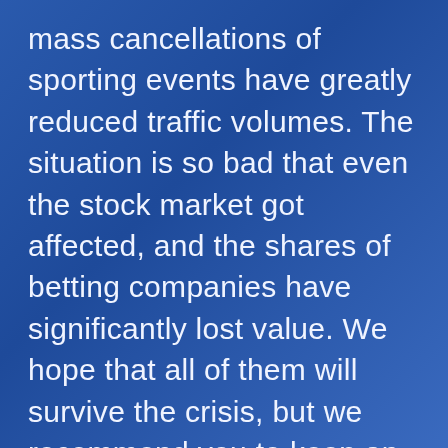mass cancellations of sporting events have greatly reduced traffic volumes. The situation is so bad that even the stock market got affected, and the shares of betting companies have significantly lost value. We hope that all of them will survive the crisis, but we recommend you to keep an eye on the situation, if you decide to work with this vertical and do not want to lose money.
We also advise you to keep a close eye on the news about cancellation of the major sports events and to pay more attention to local competitions in those countries, which